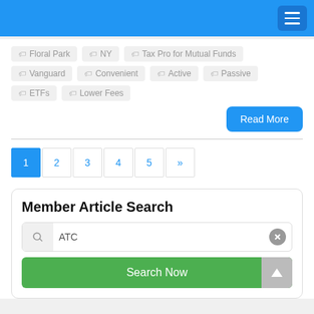Navigation menu header
Floral Park
NY
Tax Pro for Mutual Funds
Vanguard
Convenient
Active
Passive
ETFs
Lower Fees
Read More
1 2 3 4 5 »
Member Article Search
ATC
Search Now